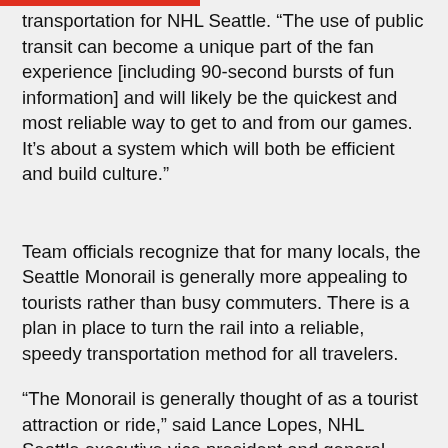transportation for NHL Seattle. “The use of public transit can become a unique part of the fan experience [including 90-second bursts of fun information] and will likely be the quickest and most reliable way to get to and from our games. It’s about a system which will both be efficient and build culture.”
Team officials recognize that for many locals, the Seattle Monorail is generally more appealing to tourists rather than busy commuters. There is a plan in place to turn the rail into a reliable, speedy transportation method for all travelers.
“The Monorail is generally thought of as a tourist attraction or ride,” said Lance Lopes, NHL Seattle executive vice president and general counsel. “We plan